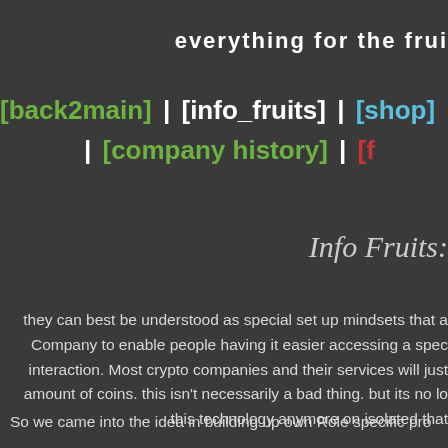everything for the frui
[back2main] | [info_fruits] | [shop] | [bo | [company history] | [f
Info Fruits:
they can best be understood as special set up mindsets that a Company to enable people having it easier accessing a spec interaction. Most crypto companies and their services will just amount of coins. this isn't necessarily a bad thing. but its no lo this technology anymore on isolated that
So we came into the idea in building up own Role specific pro